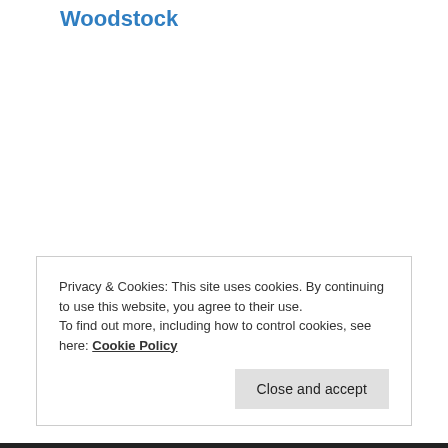Woodstock
Privacy & Cookies: This site uses cookies. By continuing to use this website, you agree to their use.
To find out more, including how to control cookies, see here: Cookie Policy
Close and accept